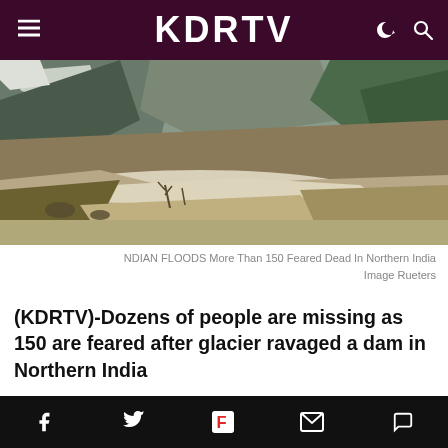KDRTV
[Figure (photo): Aerial/ground view of a flooded river valley in Northern India with rocky cliffs, sparse trees, and muddy brown floodwaters cutting through the landscape.]
NDIAN FLOODS More Than 150 Feared Dead In Northern India Image Rueters
(KDRTV)-Dozens of people are missing as 150 are feared after glacier ravaged a dam in Northern India
The glacier crashed into a dam and caused a massive flooding across the northern
Social share icons: Facebook, Twitter, Flipboard, Email, Comment